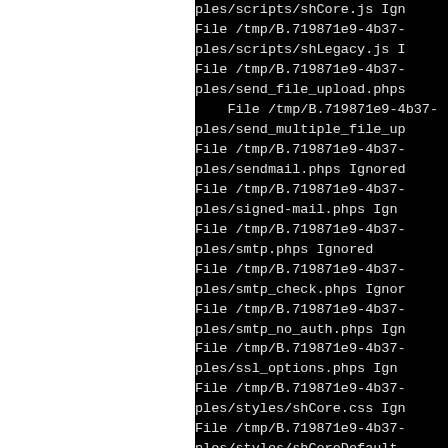ples/scripts/shCore.js Ign
File /tmp/B.719871e9-4b37-
ples/scripts/shLegacy.js I
File /tmp/B.719871e9-4b37-
ples/send_file_upload.phps
    File /tmp/B.719871e9-4b37-
ples/send_multiple_file_up
File /tmp/B.719871e9-4b37-
ples/sendmail.phps Ignored
File /tmp/B.719871e9-4b37-
ples/signed-mail.phps Ign
File /tmp/B.719871e9-4b37-
ples/smtp.phps Ignored
File /tmp/B.719871e9-4b37-
ples/smtp_check.phps Ignor
File /tmp/B.719871e9-4b37-
ples/smtp_no_auth.phps Ign
File /tmp/B.719871e9-4b37-
ples/ssl_options.phps Ign
File /tmp/B.719871e9-4b37-
ples/styles/shCore.css Ign
File /tmp/B.719871e9-4b37-
ples/styles/shCoreDefault
File /tmp/B.719871e9-4b37-